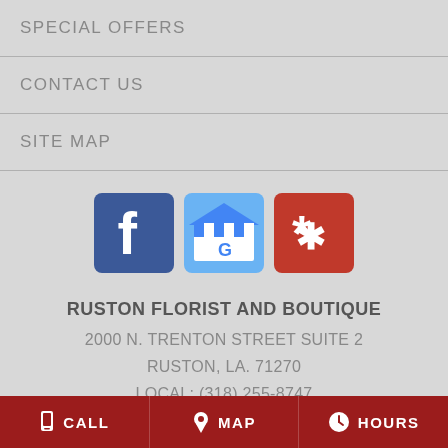SPECIAL OFFERS
CONTACT US
SITE MAP
[Figure (logo): Three social media icons: Facebook (blue square with 'f'), Google My Business (blue storefront with 'G'), and Yelp (red square with 'y' burst icon)]
RUSTON FLORIST AND BOUTIQUE
2000 N. TRENTON STREET SUITE 2
RUSTON, LA. 71270
LOCAL: (318) 255-8747
CALL  MAP  HOURS